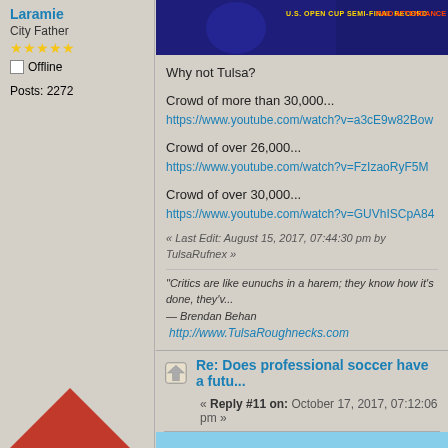[Figure (screenshot): Banner image showing U.S. Open Cup semi-final record paid attendance with soccer player silhouette on dark blue background]
Why not Tulsa?
Crowd of more than 30,000...
https://www.youtube.com/watch?v=a3cE9w82Bow
Crowd of over 26,000...
https://www.youtube.com/watch?v=FzIzaoRyF5M
Crowd of over 30,000...
https://www.youtube.com/watch?v=GUVhISCpA84
« Last Edit: August 15, 2017, 07:44:30 pm by TulsaRufnex »
"Critics are like eunuchs in a harem; they know how it's done, they'v... — Brendan Behan  http://www.TulsaRoughnecks.com
Laramie
City Father
★★★★★
Offline
Posts: 2272
Re: Does professional soccer have a futu...
« Reply #11 on: October 17, 2017, 07:12:06 pm »
[Figure (photo): Photo of a city skyline with blue sky and clouds, building visible on the right side]